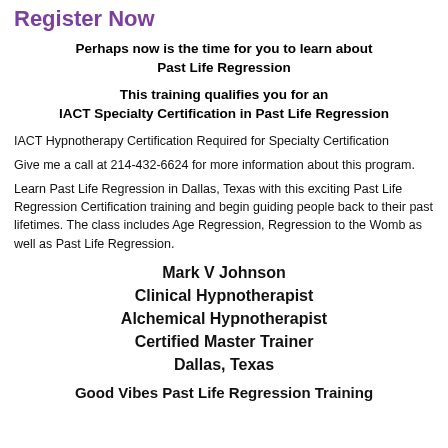Register Now
Perhaps now is the time for you to learn about Past Life Regression
This training qualifies you for an IACT Specialty Certification in Past Life Regression
IACT Hypnotherapy Certification Required for Specialty Certification
Give me a call at 214-432-6624 for more information about this program.
Learn Past Life Regression in Dallas, Texas with this exciting Past Life Regression Certification training and begin guiding people back to their past lifetimes. The class includes Age Regression, Regression to the Womb as well as Past Life Regression.
Mark V Johnson
Clinical Hypnotherapist
Alchemical Hypnotherapist
Certified Master Trainer
Dallas, Texas
Good Vibes Past Life Regression Training